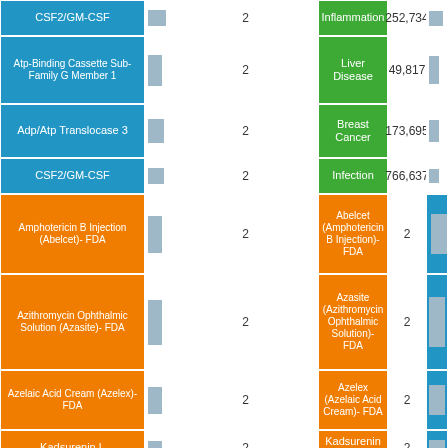| Entity 1 | Score | Entity 2 | Count | Bar | Num |
| --- | --- | --- | --- | --- | --- |
| CSF2/GM-CSF | 2 | Inflammation | 252,734 |  | 2 |
| Atp-Binding Cassette Sub-Family G Member 1 | 2 | Liver Disease | 49,817 |  | 1 |
| Adp/Atp Translocase 3 | 2 | Breast Cancer | 173,695 |  | 1 |
| CSF2/GM-CSF | 2 | Infection | 766,637 |  | 1 |
| Amphotericin B Injection (Abelcet)- FDA | 2 | Abelcet (Amphotericin B Injection)- FDA | 2 |  | 2 |
| Azithromycin Ophthalmic Solution (Azasite)- FDA | 2 | Azasite (Azithromycin Ophthalmic Solution)- FDA | 2 |  | 2 |
| Azelaic Acid Cream (Azelex)- FDA | 2 | Azelex (Azelaic Acid Cream)- FDA | 2 |  | 2 |
| Kadsurenin L | 2 | Kadsurenin C | 2 |  | 2 |
| Amphotericin B | 2 | Amphotericin B | 30 |  | 2 |